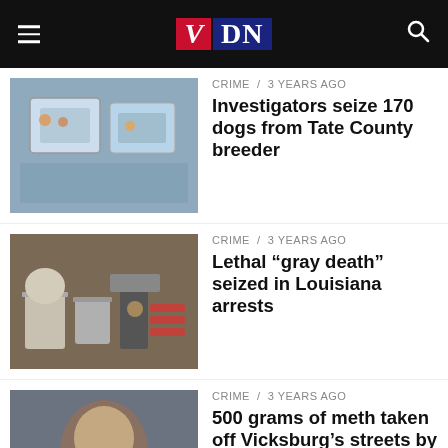VDN
CRIME / 3 years ago — Investigators seize 170 dogs from Tate County breeder
CRIME / 3 years ago — Lethal “gray death” seized in Louisiana arrests
CRIME / 3 years ago — 500 grams of meth taken off Vicksburg’s streets by narcotics officers
CRIME / 3 years ago — Vicksburg police respond to auto burglary and shots fired calls
CRIME / 3 ...